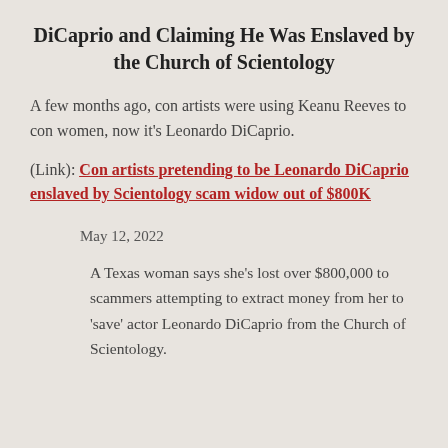DiCaprio and Claiming He Was Enslaved by the Church of Scientology
A few months ago, con artists were using Keanu Reeves to con women, now it's Leonardo DiCaprio.
(Link): Con artists pretending to be Leonardo DiCaprio enslaved by Scientology scam widow out of $800K
May 12, 2022
A Texas woman says she’s lost over $800,000 to scammers attempting to extract money from her to ‘save’ actor Leonardo DiCaprio from the Church of Scientology.